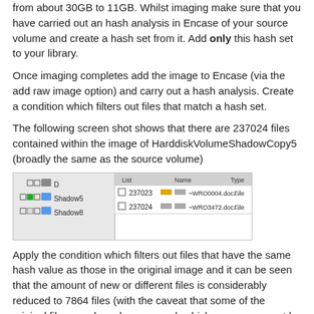from about 30GB to 11GB. Whilst imaging make sure that you have carried out an hash analysis in Encase of your source volume and create a hash set from it. Add only this hash set to your library.
Once imaging completes add the image to Encase (via the add raw image option) and carry out a hash analysis. Create a condition which filters out files that match a hash set.
The following screen shot shows that there are 237024 files contained within the image of HarddiskVolumeShadowCopy5 (broadly the same as the source volume)
[Figure (screenshot): Screenshot of Encase software showing file tree with Shadow5, Shadow8 entries and file listing showing entries 237023 (~WRO0004.doc... File) and 237024 (~WRO3472.doc... File)]
Apply the condition which filters out files that have the same hash value as those in the original image and it can be seen that the amount of new or different files is considerably reduced to 7864 files (with the caveat that some of the original files may have been moved -which may or may not be relevant in your case).